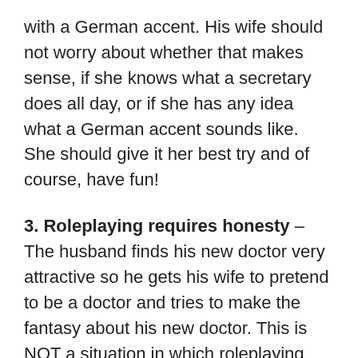with a German accent. His wife should not worry about whether that makes sense, if she knows what a secretary does all day, or if she has any idea what a German accent sounds like. She should give it her best try and of course, have fun!
3. Roleplaying requires honesty – The husband finds his new doctor very attractive so he gets his wife to pretend to be a doctor and tries to make the fantasy about his new doctor. This is NOT a situation in which roleplaying should be used, nor is it the purpose of roleplaying. The husband needs to be honest with himself about his motivations for the roleplaying. He may not need to tell his wife he is attracted to his doctor, but he definitely should not start a roleplaying session with the goal of thinking about anyone other than his wife. All sexual fantasy,